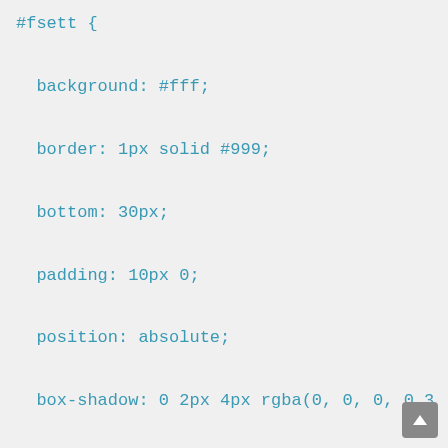#fsett {

  background: #fff;

  border: 1px solid #999;

  bottom: 30px;

  padding: 10px 0;

  position: absolute;

  box-shadow: 0 2px 4px rgba(0, 0, 0, 0.3

  text-align: left;

  z-index: 104;

  margin-left: -85%;